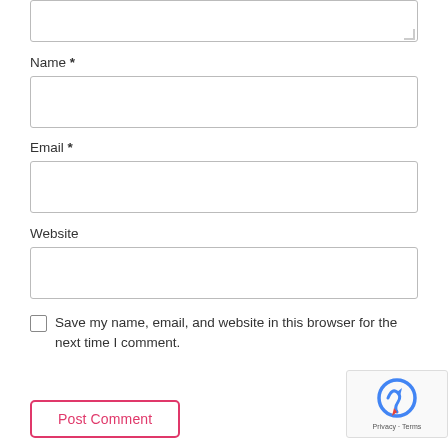[Figure (screenshot): Partial comment form textarea at the top (cropped)]
Name *
[Figure (screenshot): Name input field (empty text box)]
Email *
[Figure (screenshot): Email input field (empty text box)]
Website
[Figure (screenshot): Website input field (empty text box)]
Save my name, email, and website in this browser for the next time I comment.
[Figure (screenshot): Post Comment button and reCAPTCHA badge]